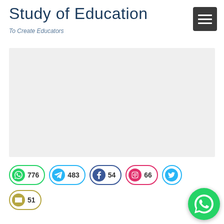Study of Education
To Create Educators
[Figure (other): Hamburger menu button (dark gray) with three white horizontal lines]
[Figure (other): Large light gray content/banner area placeholder]
[Figure (infographic): Social media share/follow buttons row 1: WhatsApp 776, Telegram 483, Facebook 54, Instagram 66, Twitter (partial)]
[Figure (infographic): Social media share/follow buttons row 2: Email 51]
[Figure (other): WhatsApp floating action button (green circle with white WhatsApp logo)]